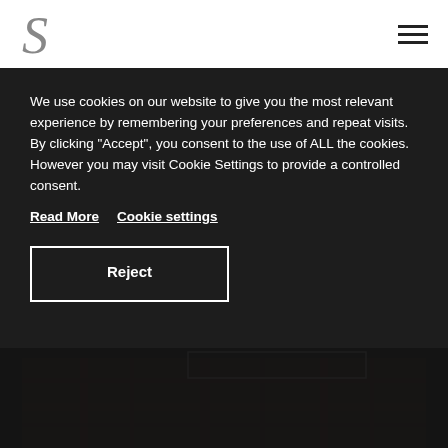S logo and hamburger menu
We use cookies on our website to give you the most relevant experience by remembering your preferences and repeat visits. By clicking “Accept”, you consent to the use of ALL the cookies. However you may visit Cookie Settings to provide a controlled consent.
Read More   Cookie settings
Reject
[Figure (photo): Partial view of a textile or fabric image at the bottom of the page, dark reddish-brown tones]